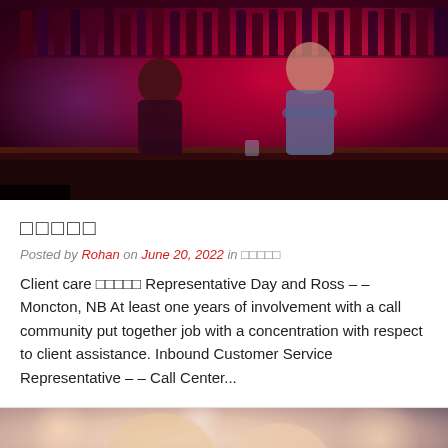[Figure (photo): Bar scene at night with red ambient lighting. A young man in dark clothing is seated at a bar talking to a female bartender in a denim shirt with arms crossed. Liquor bottles visible in background.]
□□□□□
Posted by Rohan on June 20, 2022 in □□□□□
Client care □□□□□ Representative Day and Ross – – Moncton, NB At least one years of involvement with a call community put together job with a concentration with respect to client assistance. Inbound Customer Service Representative – – Call Center...
[Figure (photo): Close-up photo of smiling women, blurred background, one holding a glass. Warm bokeh lighting.]